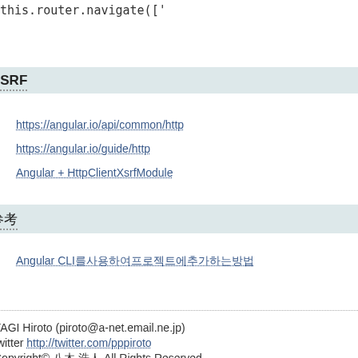this.router.navigate(['
CSRF
https://angular.io/api/common/http
https://angular.io/guide/http
Angular + HttpClientXsrfModule
参考
Angular CLI를사용하여프로젝트에추가하는방법
YAGI Hiroto (piroto@a-net.email.ne.jp)
twitter http://twitter.com/pppiroto
Copyright© 八木 浩人 All Rights Reserved